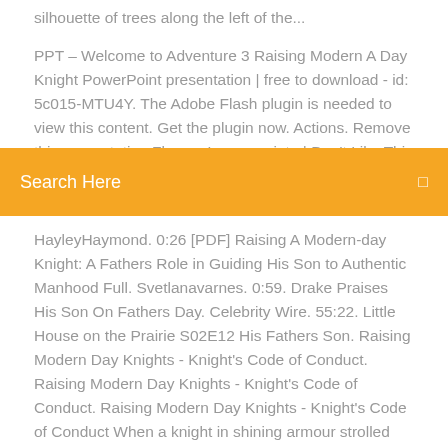silhouette of trees along the left of the...
PPT – Welcome to Adventure 3 Raising Modern A Day Knight PowerPoint presentation | free to download - id: 5c015-MTU4Y. The Adobe Flash plugin is needed to view this content. Get the plugin now. Actions. Remove this presentation Flag as Inappropriate | Don't Like This | Like this Remember as a
Search Here
HayleyHaymond. 0:26 [PDF] Raising A Modern-day Knight: A Fathers Role in Guiding His Son to Authentic Manhood Full. Svetlanavarnes. 0:59. Drake Praises His Son On Fathers Day. Celebrity Wire. 55:22. Little House on the Prairie S02E12 His Fathers Son. Raising Modern Day Knights - Knight's Code of Conduct. Raising Modern Day Knights - Knight's Code of Conduct. Raising Modern Day Knights - Knight's Code of Conduct When a knight in shining armour strolled into town with his horse, all eyes would be upon him, clapping and cheering